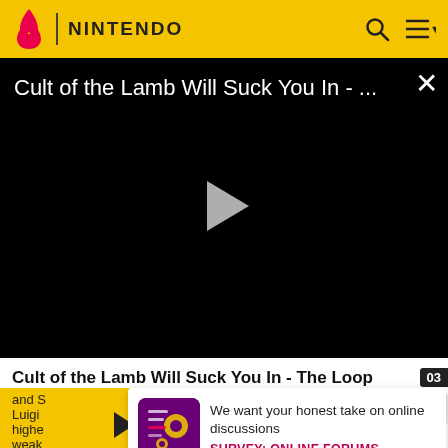NINTENDO
[Figure (screenshot): Video player showing 'Cult of the Lamb Will Suck You In - ...' with a play button on a black background and a close (X) button]
Cult of the Lamb Will Suck You In - The Loop
and S
Luigi
highe
weak
[Figure (infographic): Survey popup with purple/magenta game icon and text: We want your honest take on online discussions. SURVEY: ONLINE FORUMS]